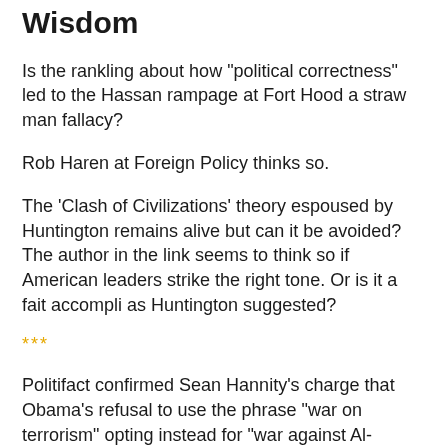Wisdom
Is the rankling about how "political correctness" led to the Hassan rampage at Fort Hood a straw man fallacy?
Rob Haren at Foreign Policy thinks so.
The 'Clash of Civilizations' theory espoused by Huntington remains alive but can it be avoided? The author in the link seems to think so if American leaders strike the right tone. Or is it a fait accompli as Huntington suggested?
***
Politifact confirmed Sean Hannity's charge that Obama's refusal to use the phrase "war on terrorism" opting instead for "war against Al-Queda."
So what? I think the President is right to be cautious about the language he conveys.
Linking the fact he doesn't use words the right would use